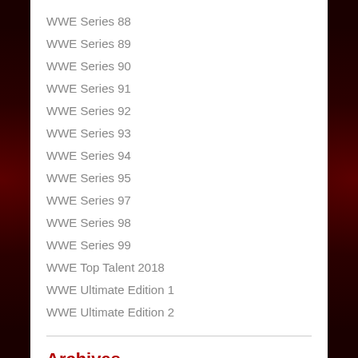WWE Series 88
WWE Series 89
WWE Series 90
WWE Series 91
WWE Series 92
WWE Series 93
WWE Series 94
WWE Series 95
WWE Series 97
WWE Series 98
WWE Series 99
WWE Top Talent 2018
WWE Ultimate Edition 1
WWE Ultimate Edition 2
Archives